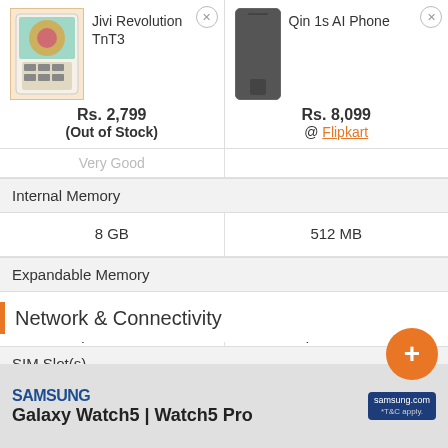| Jivi Revolution TnT3 | Qin 1s AI Phone |
| --- | --- |
| Rs. 2,799 (Out of Stock) | Rs. 8,099 @ Flipkart |
| Very Good |  |
| Internal Memory | Internal Memory |
| 8 GB | 512 MB |
| Expandable Memory | Expandable Memory |
| Yes
Up to 64 GB | Yes
Up to 32 GB |
| SIM Slot(s) | SIM Slot(s) |
| Dual SIM
GSM+GSM | Dual SIM
GSM+GSM |
Network & Connectivity
[Figure (screenshot): Ad banner for Samsung Galaxy Watch5 | Watch5 Pro with samsung.com logo]